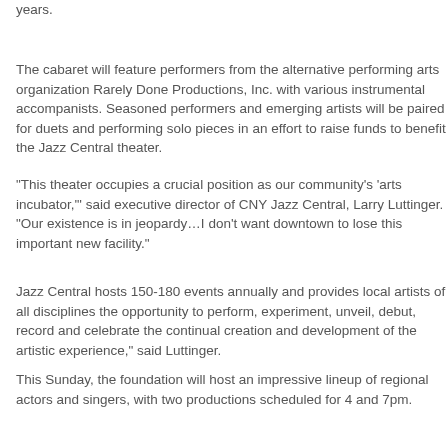years.
The cabaret will feature performers from the alternative performing arts organization Rarely Done Productions, Inc. with various instrumental accompanists. Seasoned performers and emerging artists will be paired for duets and performing solo pieces in an effort to raise funds to benefit the Jazz Central theater.
“This theater occupies a crucial position as our community’s ‘arts incubator,’” said executive director of CNY Jazz Central, Larry Luttinger. “Our existence is in jeopardy…I don’t want downtown to lose this important new facility.”
Jazz Central hosts 150-180 events annually and provides local artists of all disciplines the opportunity to perform, experiment, unveil, debut, record and celebrate the continual creation and development of the artistic experience,” said Luttinger.
This Sunday, the foundation will host an impressive lineup of regional actors and singers, with two productions scheduled for 4 and 7pm.
“We’ve assembled an exciting group of present and future ‘triple threats’ for the occasion,” said artistic director of Rarely Done Productions, Inc. Dan Tursi. “You’ll see plenty of talent up on stage.”